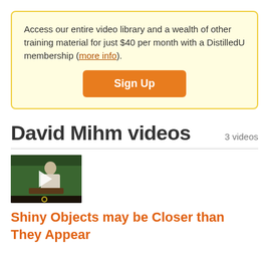Access our entire video library and a wealth of other training material for just $40 per month with a DistilledU membership (more info).
Sign Up
David Mihm videos  3 videos
[Figure (photo): Video thumbnail showing a man at a podium speaking, with a green background, and a play button overlay]
Shiny Objects may be Closer than They Appear